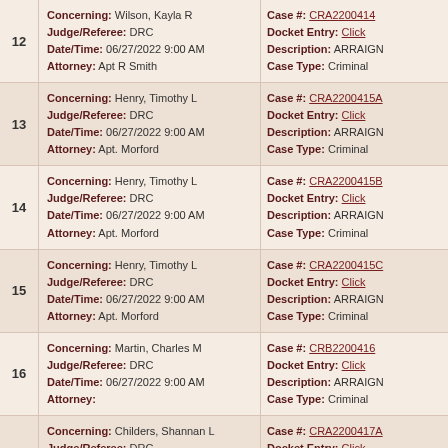| # | Case Info Left | Case Info Right |
| --- | --- | --- |
| 12 | Concerning: Wilson, Kayla R | Judge/Referee: DRC | Date/Time: 06/27/2022 9:00 AM | Attorney: Apt R Smith | Case #: CRA2200414 | Docket Entry: Click | Description: ARRAIGN | Case Type: Criminal |
| 13 | Concerning: Henry, Timothy L | Judge/Referee: DRC | Date/Time: 06/27/2022 9:00 AM | Attorney: Apt. Morford | Case #: CRA2200415A | Docket Entry: Click | Description: ARRAIGN | Case Type: Criminal |
| 14 | Concerning: Henry, Timothy L | Judge/Referee: DRC | Date/Time: 06/27/2022 9:00 AM | Attorney: Apt. Morford | Case #: CRA2200415B | Docket Entry: Click | Description: ARRAIGN | Case Type: Criminal |
| 15 | Concerning: Henry, Timothy L | Judge/Referee: DRC | Date/Time: 06/27/2022 9:00 AM | Attorney: Apt. Morford | Case #: CRA2200415C | Docket Entry: Click | Description: ARRAIGN | Case Type: Criminal |
| 16 | Concerning: Martin, Charles M | Judge/Referee: DRC | Date/Time: 06/27/2022 9:00 AM | Attorney:  | Case #: CRB2200416 | Docket Entry: Click | Description: ARRAIGN | Case Type: Criminal |
| 17 | Concerning: Childers, Shannan L | Judge/Referee: DRC | Date/Time: 06/27/2022 9:00 AM | Attorney: Apt. Stratton | Case #: CRA2200417A | Docket Entry: Click | Description: ARRAIGN | Case Type: Criminal |
|  | Concerning: Childers, Shannan L | Case #: CRA2200417B |